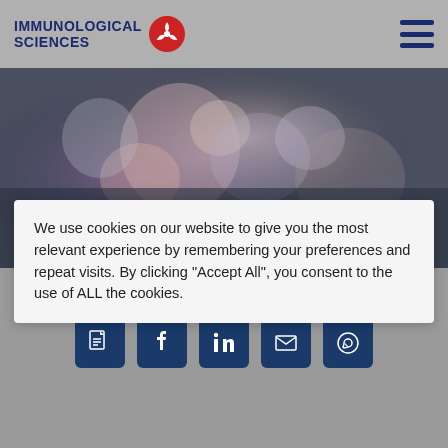IMMUNOLOGICAL SCIENCES
KCNE1
We use cookies on our website to give you the most relevant experience by remembering your preferences and repeat visits. By clicking “Accept All”, you consent to the use of ALL the cookies.
[Figure (infographic): Row of five social sharing icon buttons: PDF, Facebook, LinkedIn, Email, WhatsApp]